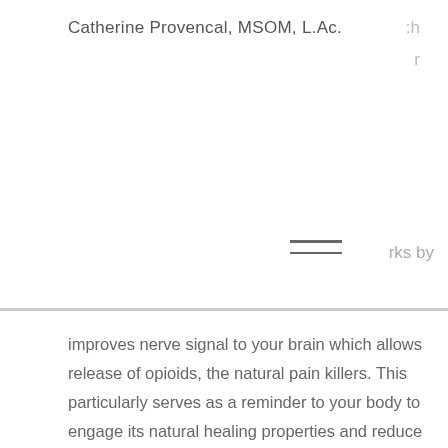Catherine Provencal, MSOM, L.Ac.
improves nerve signal to your brain which allows release of opioids, the natural pain killers. This particularly serves as a reminder to your body to engage its natural healing properties and reduce overall stress. The comfort of my patients is a primary concern so gentle, painless needle technique is assured and a key to achieve that comfort.